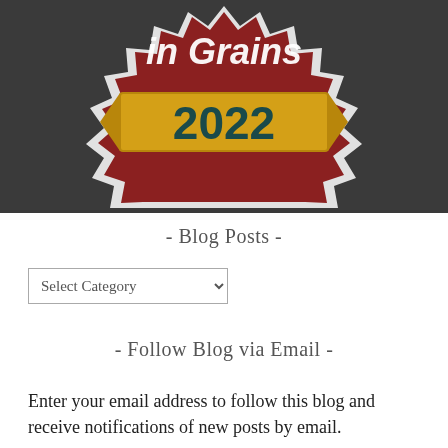[Figure (logo): Spiky red badge/seal graphic with white outlined text partially visible reading 'in Grains' (partially cropped) and a gold/yellow banner ribbon across the middle displaying '2022' in dark teal bold text. Background is dark gray.]
- Blog Posts -
[Figure (screenshot): Dropdown selector UI element with label 'Select Category' and a chevron/arrow on the right, with a rectangular border.]
- Follow Blog via Email -
Enter your email address to follow this blog and receive notifications of new posts by email.